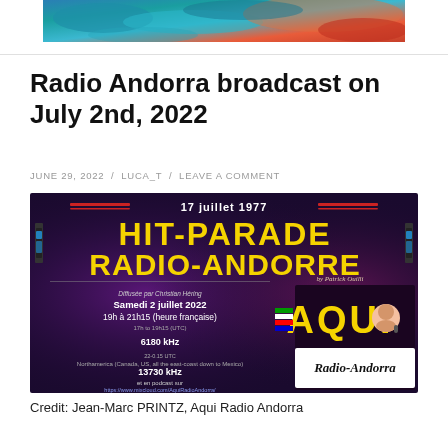[Figure (illustration): Colorful abstract banner image with blue and teal tones, appearing as a header image for the blog/website.]
Radio Andorra broadcast on July 2nd, 2022
JUNE 29, 2022 / LUCA_T / LEAVE A COMMENT
[Figure (photo): Promotional poster for Hit-Parade Radio-Andorre broadcast. Shows '17 juillet 1977' at top, large yellow text 'HIT-PARADE RADIO-ANDORRE', details about broadcast on Samedi 2 juillet 2022, 19h à 21h15 (heure française), 6180 kHz, 13730 kHz frequencies, and podcast link. Right side shows 'AQUI Radio-Andorra' logo with a woman's face.]
Credit: Jean-Marc PRINTZ, Aqui Radio Andorra